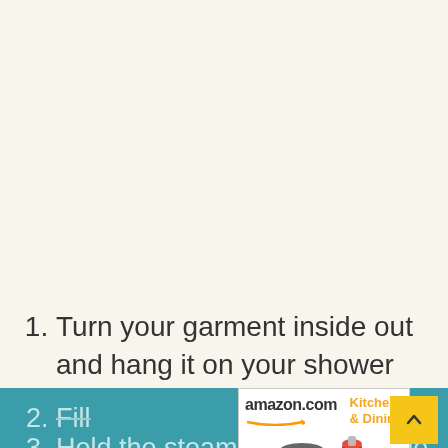1. Turn your garment inside out and hang it on your shower curtain rod. A hook on the back of your bathroom door is also a good idea.
2. Fill [steamer with water and allow] to heat up [for a few minutes].
3. Hold the steamer so the nozzle [coming at least a inch away...]
[Figure (other): Amazon.com Kitchen & Dining advertisement banner with cookware and a red stand mixer. Includes 'Shop now' link and 'Privacy' label.]